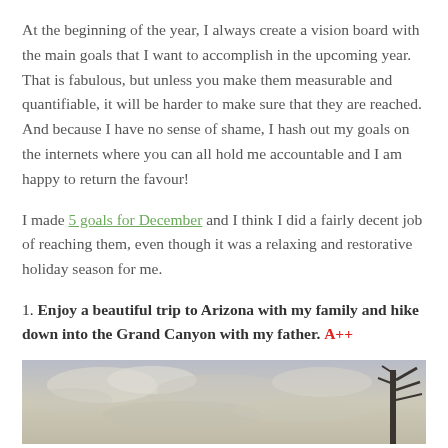At the beginning of the year, I always create a vision board with the main goals that I want to accomplish in the upcoming year. That is fabulous, but unless you make them measurable and quantifiable, it will be harder to make sure that they are reached. And because I have no sense of shame, I hash out my goals on the internets where you can all hold me accountable and I am happy to return the favour!
I made 5 goals for December and I think I did a fairly decent job of reaching them, even though it was a relaxing and restorative holiday season for me.
1. Enjoy a beautiful trip to Arizona with my family and hike down into the Grand Canyon with my father. A++
[Figure (photo): Outdoor photo showing a cloudy sky with a tree silhouette on the right side]